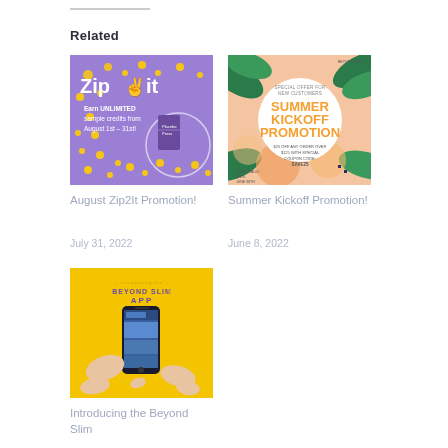Related
[Figure (illustration): Purple background promotional image for Zip2It with yellow hand gesture and dots. Text reads: Earn UNLIMITED sample credits from August 1st - 31st!]
August Zip2It Promotion!
July 31, 2022
[Figure (illustration): Tropical summer theme promotional image with green leaves, peach/pink background and white circle. Text: SPECIAL OFFER FOR NEW CUSTOMERS - SUMMER KICKOFF PROMOTION - $25 OFF ANY ORDER OVER $125 WITH SPECIAL COUPON CODE: SAVE25]
Summer Kickoff Promotion!
June 8, 2022
[Figure (illustration): Yellow background with hands holding a smartphone showing the Beyond Slim app. Text: Introducing the BEYOND SLIM APP]
Introducing the Beyond Slim